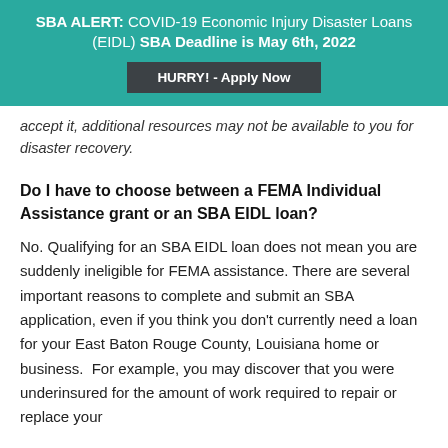SBA ALERT: COVID-19 Economic Injury Disaster Loans (EIDL) SBA Deadline is May 6th, 2022
HURRY! - Apply Now
accept it, additional resources may not be available to you for disaster recovery.
Do I have to choose between a FEMA Individual Assistance grant or an SBA EIDL loan?
No. Qualifying for an SBA EIDL loan does not mean you are suddenly ineligible for FEMA assistance. There are several important reasons to complete and submit an SBA application, even if you think you don’t currently need a loan for your East Baton Rouge County, Louisiana home or business.  For example, you may discover that you were underinsured for the amount of work required to repair or replace your